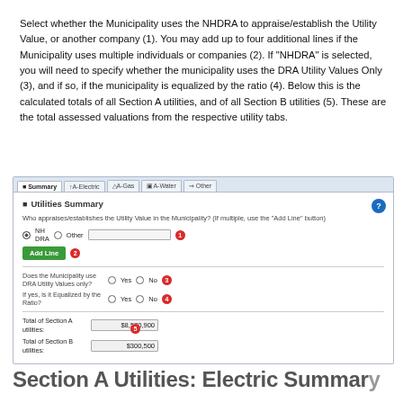Select whether the Municipality uses the NHDRA to appraise/establish the Utility Value, or another company (1). You may add up to four additional lines if the Municipality uses multiple individuals or companies (2). If "NHDRA" is selected, you will need to specify whether the municipality uses the DRA Utility Values Only (3), and if so, if the municipality is equalized by the ratio (4). Below this is the calculated totals of all Section A utilities, and of all Section B utilities (5). These are the total assessed valuations from the respective utility tabs.
[Figure (screenshot): Screenshot of the Utilities Summary panel with tabs (Summary, A-Electric, A-Gas, A-Water, Other), showing fields: who appraises the utility value with NH DRA or Other radio buttons and text input (callout 1), Add Line button (callout 2), Does the Municipality use DRA Utility Values only Yes/No (callout 3), If yes is it Equalized by the Ratio Yes/No (callout 4), Total of Section A utilities $8,570,900 and Total of Section B utilities $300,500 (callout 5).]
Section A Utilities: Electric Summary